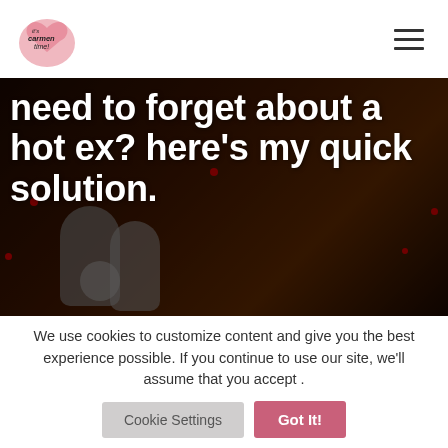[Figure (logo): It's Carmen Time! blog logo — pink heart shape with script text]
[Figure (photo): Dark moody photo of voodoo dolls with red-tipped pins, dark background]
need to forget about a hot ex? here's my quick solution.
We use cookies to customize content and give you the best experience possible. If you continue to use our site, we'll assume that you accept .